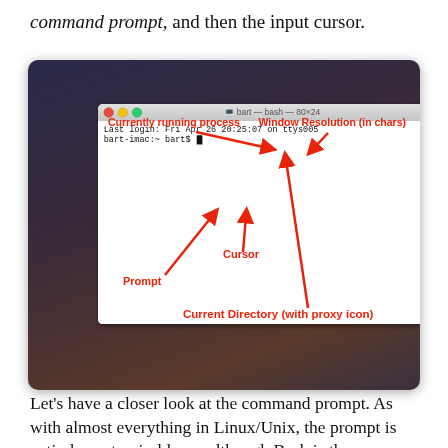command prompt, and then the input cursor.
[Figure (screenshot): A macOS Terminal window showing a bash shell session. Red annotation labels point to: 'Currently running process' (top left, pointing to title bar), 'Window Resolution (in chars)' (top right, pointing to '80x24' in title), 'Prompt' (bottom left, pointing to prompt text), 'Cursor' (middle, pointing to cursor block), 'Current Directory (with proxy icon)' (bottom center, pointing to title bar icon). Terminal shows 'Last login: Fri Apr 26 20:25:07 on ttys005' and 'bart-imac:~ bart$ ' with cursor.]
Let's have a closer look at the command prompt. As with almost everything in Linux/Unix, the prompt is entirely customisable, so although Bash is the